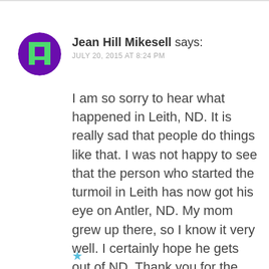[Figure (logo): Purple circle avatar with green pixel-art figure icon (Jean Hill Mikesell profile avatar)]
Jean Hill Mikesell says:
JULY 20, 2015 AT 8:24 PM
I am so sorry to hear what happened in Leith, ND. It is really sad that people do things like that. I was not happy to see that the person who started the turmoil in Leith has now got his eye on Antler, ND. My mom grew up there, so I know it very well. I certainly hope he gets out of ND. Thank you for the updates!!!!